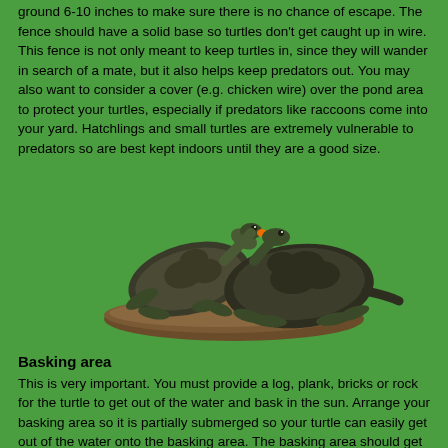ground 6-10 inches to make sure there is no chance of escape. The fence should have a solid base so turtles don't get caught up in wire. This fence is not only meant to keep turtles in, since they will wander in search of a mate, but it also helps keep predators out. You may also want to consider a cover (e.g. chicken wire) over the pond area to protect your turtles, especially if predators like raccoons come into your yard. Hatchlings and small turtles are extremely vulnerable to predators so are best kept indoors until they are a good size.
[Figure (photo): Two turtles basking on a rock, viewed from the side. The turtles appear to be red-eared sliders or similar pond turtles sitting on a rocky surface against a green background.]
Basking area
This is very important. You must provide a log, plank, bricks or rock for the turtle to get out of the water and bask in the sun. Arrange your basking area so it is partially submerged so your turtle can easily get out of the water onto the basking area. The basking area should get sunlight for a good portion of the afternoon.